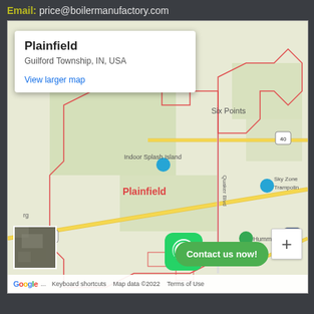Email: price@boilermanufactory.com
[Figure (map): Google Map showing Plainfield, Guilford Township, IN, USA with popup info box, WhatsApp icon, and Contact us now! button. Map shows Indoor Splash Island, Hummel Park, Sky Zone Trampoline, Six Points labels, roads including US-40 and I-70.]
Keyboard shortcuts  Map data ©2022  Terms of Use